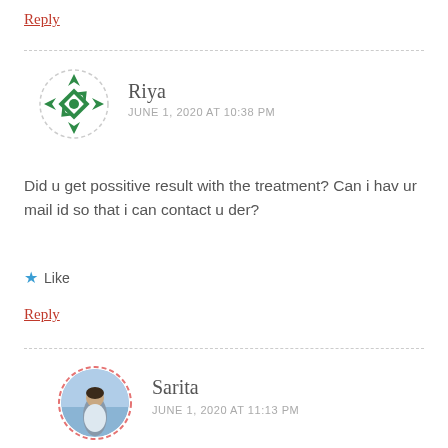Reply
[Figure (illustration): Green decorative avatar with star/cross pattern for user Riya]
Riya
JUNE 1, 2020 AT 10:38 PM
Did u get possitive result with the treatment? Can i hav ur mail id so that i can contact u der?
Like
Reply
[Figure (photo): Circular photo of Sarita with dashed red border, woman standing near water]
Sarita
JUNE 1, 2020 AT 11:13 PM